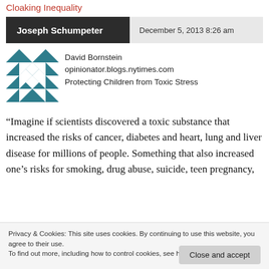Cloaking Inequality
Joseph Schumpeter   December 5, 2013 8:26 am
[Figure (illustration): Geometric teal/white patterned square avatar icon for David Bornstein]
David Bornstein
opinionator.blogs.nytimes.com
Protecting Children from Toxic Stress
“Imagine if scientists discovered a toxic substance that increased the risks of cancer, diabetes and heart, lung and liver disease for millions of people. Something that also increased one’s risks for smoking, drug abuse, suicide, teen pregnancy,
Privacy & Cookies: This site uses cookies. By continuing to use this website, you agree to their use.
To find out more, including how to control cookies, see here: Cookie Policy
smoke and mercury. We would do everything in our